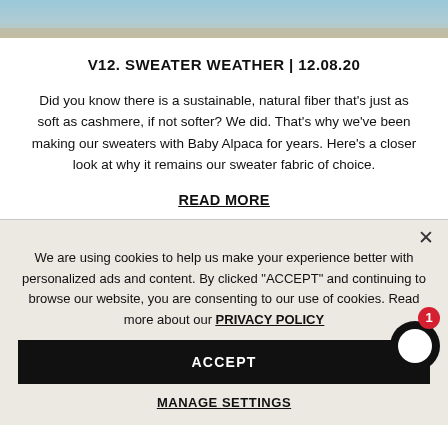[Figure (photo): Partial photo strip at top of page showing outdoor scene with blue sky and natural tones]
V12. SWEATER WEATHER | 12.08.20
Did you know there is a sustainable, natural fiber that’s just as soft as cashmere, if not softer? We did. That’s why we’ve been making our sweaters with Baby Alpaca for years. Here’s a closer look at why it remains our sweater fabric of choice.
READ MORE
We are using cookies to help us make your experience better with personalized ads and content. By clicked "ACCEPT" and continuing to browse our website, you are consenting to our use of cookies. Read more about our PRIVACY POLICY
ACCEPT
MANAGE SETTINGS